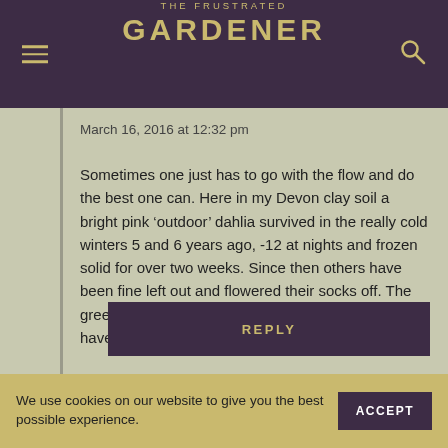THE FRUSTRATED GARDENER
March 16, 2016 at 12:32 pm
Sometimes one just has to go with the flow and do the best one can. Here in my Devon clay soil a bright pink ‘outdoor’ dahlia survived in the really cold winters 5 and 6 years ago, -12 at nights and frozen solid for over two weeks. Since then others have been fine left out and flowered their socks off. The greenhouse protected ones usually do better but I have had losses with them some years.
Liked by 1 person
REPLY
We use cookies on our website to give you the best possible experience.